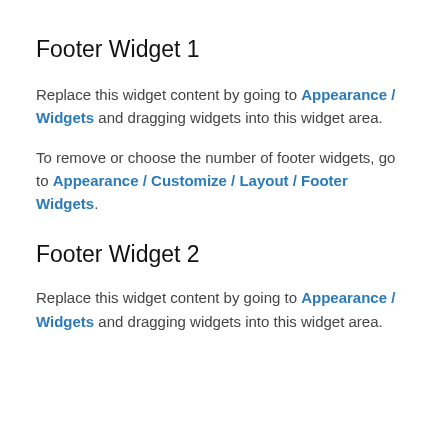Footer Widget 1
Replace this widget content by going to Appearance / Widgets and dragging widgets into this widget area.
To remove or choose the number of footer widgets, go to Appearance / Customize / Layout / Footer Widgets.
Footer Widget 2
Replace this widget content by going to Appearance / Widgets and dragging widgets into this widget area.